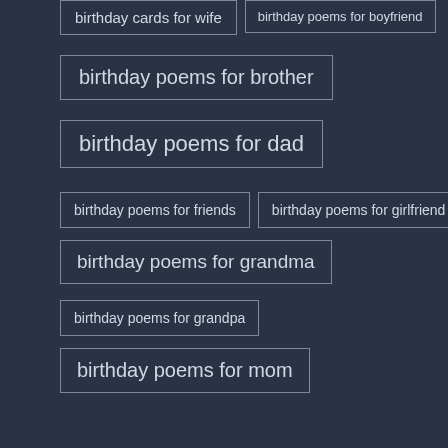birthday cards for wife
birthday poems for boyfriend
birthday poems for brother
birthday poems for dad
birthday poems for friends
birthday poems for girlfriend
birthday poems for grandma
birthday poems for grandpa
birthday poems for mom
birthday poems for sister
birthday poems for son
birthday quotes for dad
birthday quotes for friends